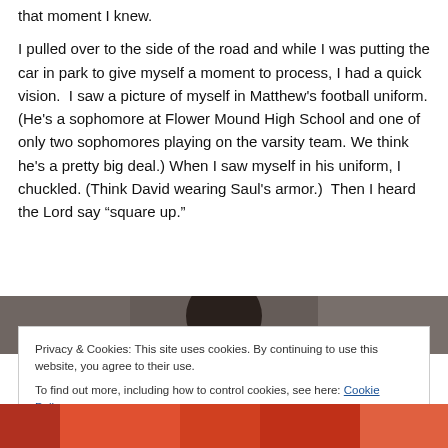that moment I knew.
I pulled over to the side of the road and while I was putting the car in park to give myself a moment to process, I had a quick vision.  I saw a picture of myself in Matthew's football uniform. (He's a sophomore at Flower Mound High School and one of only two sophomores playing on the varsity team. We think he's a pretty big deal.) When I saw myself in his uniform, I chuckled. (Think David wearing Saul's armor.)  Then I heard the Lord say "square up."
[Figure (photo): Partial photo of a person in football uniform/gear, showing helmet and jersey, visible in two strips above and below the cookie banner overlay.]
Privacy & Cookies: This site uses cookies. By continuing to use this website, you agree to their use.
To find out more, including how to control cookies, see here: Cookie Policy
Close and accept